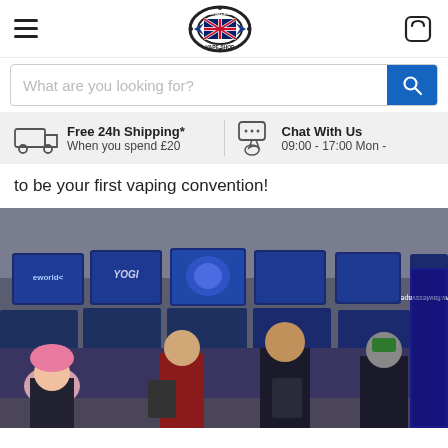Flawless Vape Shop navigation bar with hamburger menu, logo, and cart icon
What are you looking for?
Free 24h Shipping* When you spend £20   Chat With Us 09:00 - 17:00 Mon -
to be your first vaping convention!
[Figure (photo): Crowd of people at a vaping convention with blue display screens showing brand logos including 'yogi', a banner reading 'www.flawlessvape' on the right, and attendees with backpacks in the foreground including a woman with pink hair.]